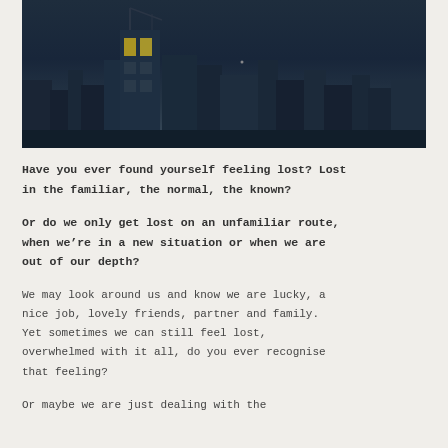[Figure (photo): Dark cityscape photograph showing buildings against a night or dusk sky, viewed from a distance. Buildings include one with illuminated yellow windows. The skyline is dark and moody with a blue-grey tone.]
Have you ever found yourself feeling lost? Lost in the familiar, the normal, the known?
Or do we only get lost on an unfamiliar route, when we’re in a new situation or when we are out of our depth?
We may look around us and know we are lucky, a nice job, lovely friends, partner and family. Yet sometimes we can still feel lost, overwhelmed with it all, do you ever recognise that feeling?
Or maybe we are just dealing with the